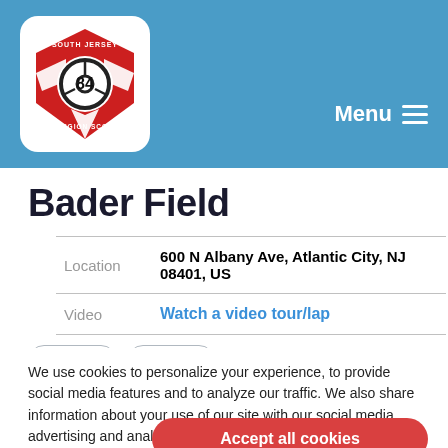[Figure (logo): South Jersey Region SCCA logo with number 84, red shield with steering wheel, on white rounded rectangle background]
Menu ≡
Bader Field
|  |  |
| --- | --- |
| Location | 600 N Albany Ave, Atlantic City, NJ 08401, US |
| Video | Watch a video tour/lap |
We use cookies to personalize your experience, to provide social media features and to analyze our traffic. We also share information about your use of our site with our social media, advertising and analytics partners. Cookie Settings
Accept all cookies